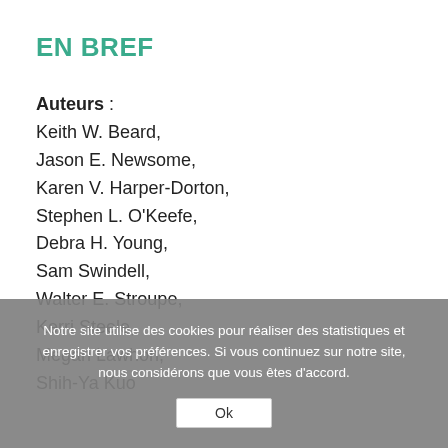EN BREF
Auteurs : Keith W. Beard, Jason E. Newsome, Karen V. Harper-Dorton, Stephen L. O'Keefe, Debra H. Young, Sam Swindell, Walter E. Stroupe, Kerri Steele, Megan Lawhon, Shih-Ya Kuo
Notre site utilise des cookies pour réaliser des statistiques et enregistrer vos préférences. Si vous continuez sur notre site, nous considérons que vous êtes d'accord.